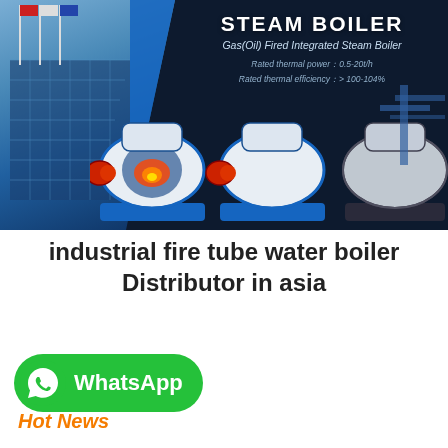[Figure (photo): Steam boiler product banner showing industrial building with flags on the left, multiple gas(oil) fired integrated steam boilers on a dark navy background, with product title and specs on the upper right]
industrial fire tube water boiler Distributor in asia
[Figure (logo): Green WhatsApp button with phone icon and WhatsApp text]
Hot News